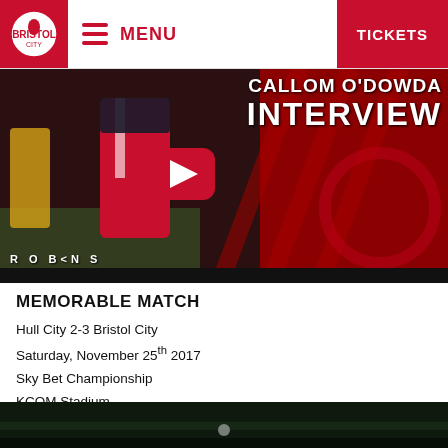MENU | TICKETS
[Figure (screenshot): Video thumbnail showing a football player in red Bristol City kit with YouTube play button overlay. Text reads 'CALLOM O DOWDA INTERVIEW' and 'ROBINS' branding at bottom left.]
MEMORABLE MATCH
Hull City 2-3 Bristol City
Saturday, November 25th 2017
Sky Bet Championship
KCOM Stadium
Scorers: Campbell 33, Bowen 63 / Flint 68, Reid 79, Brownhill 90
Attendance: 14,762
[Figure (photo): Bottom strip showing a dark photo of a football stadium or pitch scene.]